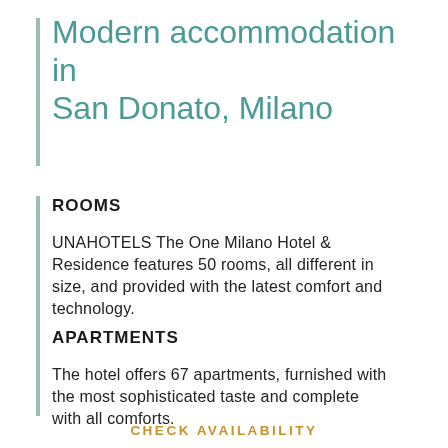Modern accommodation in San Donato, Milano
ROOMS
UNAHOTELS The One Milano Hotel & Residence features 50 rooms, all different in size, and provided with the latest comfort and technology.
APARTMENTS
The hotel offers 67 apartments, furnished with the most sophisticated taste and complete with all comforts.
CHECK AVAILABILITY